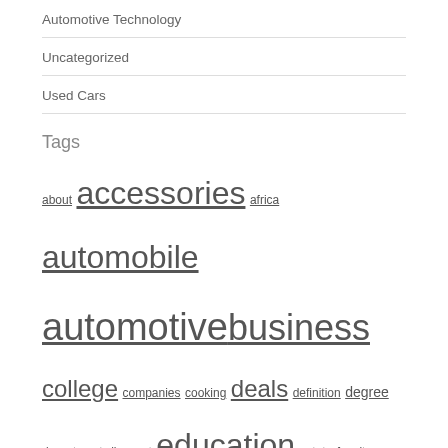Automotive Technology
Uncategorized
Used Cars
Tags
about accessories africa automobile automotive business college companies cooking deals definition degree department discount education estate faculty fashion health house improvement india industry information international journal latest leisure market medical newest online options price program programs repair retailer science service small south store